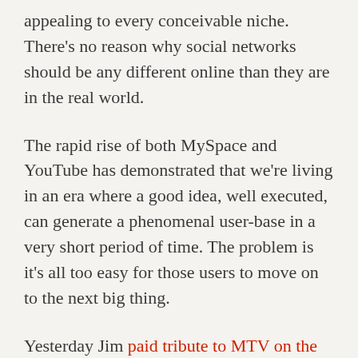appealing to every conceivable niche. There's no reason why social networks should be any different online than they are in the real world.
The rapid rise of both MySpace and YouTube has demonstrated that we're living in an era where a good idea, well executed, can generate a phenomenal user-base in a very short period of time. The problem is it's all too easy for those users to move on to the next big thing.
Yesterday Jim paid tribute to MTV on the network's 25th anniversary. While I'm not convinced MTV will last another 25 years (or even another 10 years), I'm quite certain that MySpace will not follow in MTV's footsteps as...